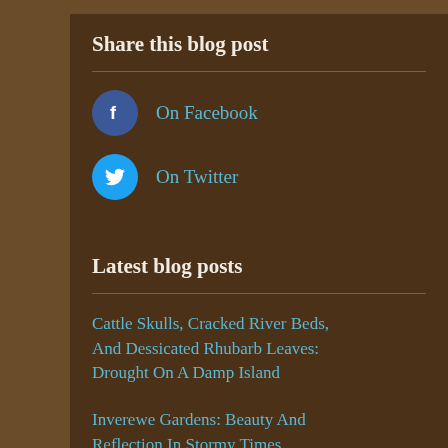Share this blog post
On Facebook
On Twitter
Latest blog posts
Cattle Skulls, Cracked River Beds, And Dessicated Rhubarb Leaves: Drought On A Damp Island
Inverewe Gardens: Beauty And Reflection In Stormy Times